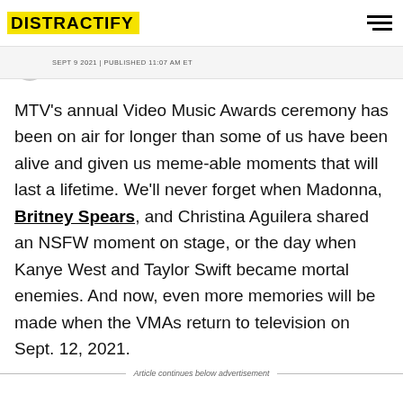DISTRACTIFY
SEPT 9 2021 | PUBLISHED 11:07 AM ET
MTV's annual Video Music Awards ceremony has been on air for longer than some of us have been alive and given us meme-able moments that will last a lifetime. We'll never forget when Madonna, Britney Spears, and Christina Aguilera shared an NSFW moment on stage, or the day when Kanye West and Taylor Swift became mortal enemies. And now, even more memories will be made when the VMAs return to television on Sept. 12, 2021.
Article continues below advertisement